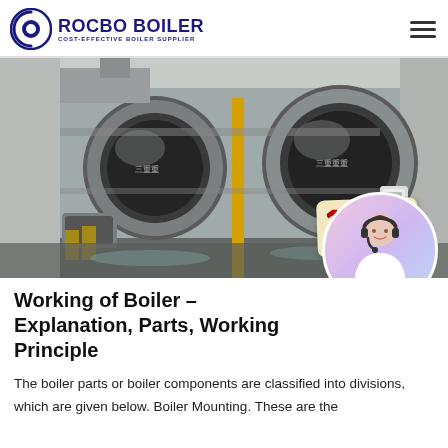ROCBO BOILER — COST-EFFECTIVE BOILER SUPPLIER
[Figure (photo): Industrial boiler facility showing large horizontal cylindrical boilers in a factory setting, with a 10% DISCOUNT badge overlay in the lower right corner.]
Working of Boiler – Explanation, Parts, Working Principle
The boiler parts or boiler components are classified into divisions, which are given below. Boiler Mounting. These are the